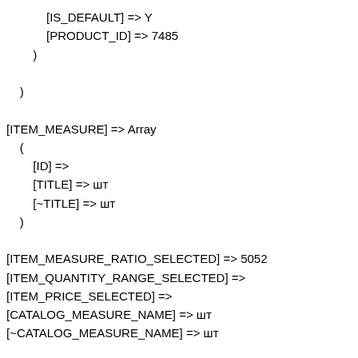[IS_DEFAULT] => Y
            [PRODUCT_ID] => 7485
        )

    )

[ITEM_MEASURE] => Array
    (
        [ID] =>
        [TITLE] => шт
        [~TITLE] => шт
    )

[ITEM_MEASURE_RATIO_SELECTED] => 5052
[ITEM_QUANTITY_RANGE_SELECTED] =>
[ITEM_PRICE_SELECTED] =>
[CATALOG_MEASURE_NAME] => шт
[~CATALOG_MEASURE_NAME] => шт